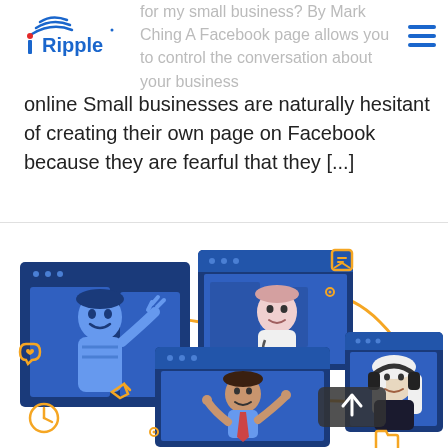iRipple logo and navigation
for my small business? By Mark Ching A Facebook page allows you to control the conversation about your business
online Small businesses are naturally hesitant of creating their own page on Facebook because they are fearful that they [...]
[Figure (illustration): Illustration showing four browser/video windows with animated characters: a waving person, a doctor with stethoscope, a child pointing, and a person with headphones, connected by an orange flowing line. Orange icons of a chat bubble with heart, a bookmark, a clock, and a folder are scattered around.]